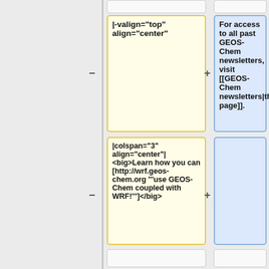|-valign="top" align="center"
For access to all past GEOS-Chem newsletters, visit [[GEOS-Chem newsletters|this page]].
|colspan="3" align="center"| <big>Learn how you can [http://wrf.geos-chem.org '''use GEOS-Chem coupled with WRF!''']</big>
|-valign="top" align="center"
== Documentation